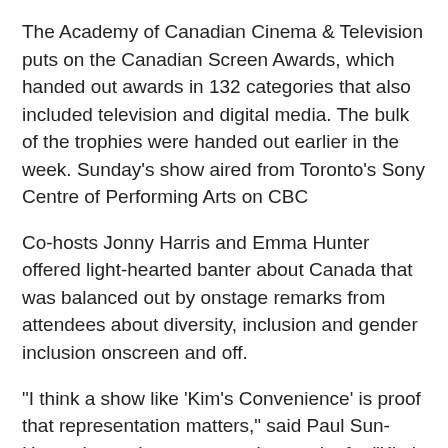The Academy of Canadian Cinema & Television puts on the Canadian Screen Awards, which handed out awards in 132 categories that also included television and digital media. The bulk of the trophies were handed out earlier in the week. Sunday's show aired from Toronto's Sony Centre of Performing Arts on CBC
Co-hosts Jonny Harris and Emma Hunter offered light-hearted banter about Canada that was balanced out by onstage remarks from attendees about diversity, inclusion and gender inclusion onscreen and off.
"I think a show like 'Kim's Convenience' is proof that representation matters," said Paul Sun-Hyung Lee, who won an acting trophy for "Kim's Convenience," which also won best comedy series.
"When you give people a voice, other people start listening, and when people start listening, things start to